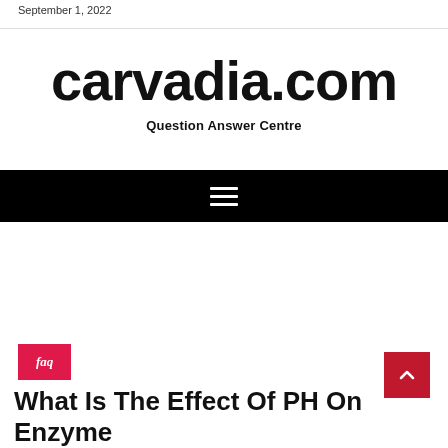September 1, 2022
carvadia.com
Question Answer Centre
[Figure (other): Black navigation bar with hamburger menu icon (three white horizontal lines)]
faq
What Is The Effect Of PH On Enzyme